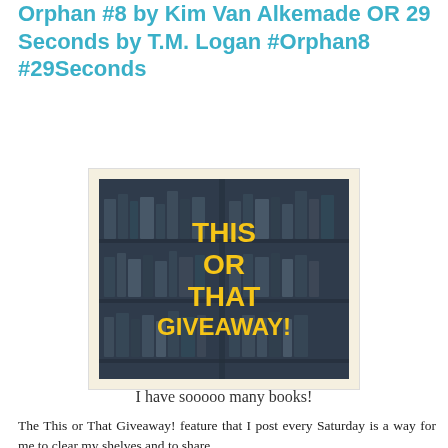Orphan #8 by Kim Van Alkemade OR 29 Seconds by T.M. Logan #Orphan8 #29Seconds
[Figure (illustration): A 'This or That Giveaway!' graphic showing bookshelves in grayscale background with bold yellow text reading 'THIS OR THAT GIVEAWAY!']
I have sooooo many books!
The This or That Giveaway! feature that I post every Saturday is a way for me to clear my shelves and to share